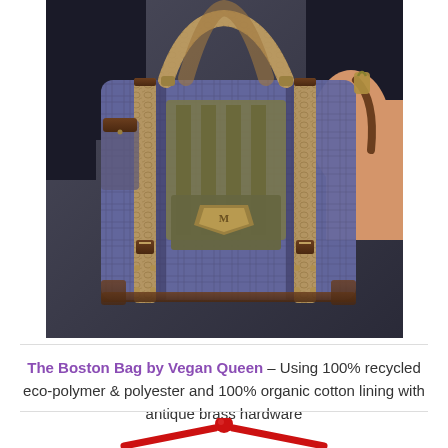[Figure (photo): A decorative handbag (Boston Bag by Vegan Queen) shown being held by a person. The bag features a plaid/checked fabric body in blue-grey tones, tan/beige crocodile-embossed leather straps and panel trim, dark brown leather accents, metallic rivets, an ornate gold crest clasp, and a shoulder strap. The background is dark grey.]
The Boston Bag by Vegan Queen – Using 100% recycled eco-polymer & polyester and 100% organic cotton lining with antique brass hardware
[Figure (photo): A red rope or cord bracelet/accessory with a knot at the top, shown against a white background. Only the top portion is visible.]